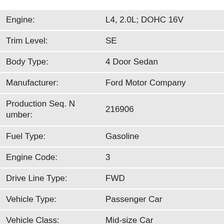| Field | Value |
| --- | --- |
| Engine: | L4, 2.0L; DOHC 16V |
| Trim Level: | SE |
| Body Type: | 4 Door Sedan |
| Manufacturer: | Ford Motor Company |
| Production Seq. Number: | 216906 |
| Fuel Type: | Gasoline |
| Engine Code: | 3 |
| Drive Line Type: | FWD |
| Vehicle Type: | Passenger Car |
| Vehicle Class: | Mid-size Car |
| Restraint System: | Dual Air Bag; Active Belts |
| Country: | UNITED STATES |
| Assy. Plant: | Kansas City: Claycomo, MO |
| Check Digit: | Y |